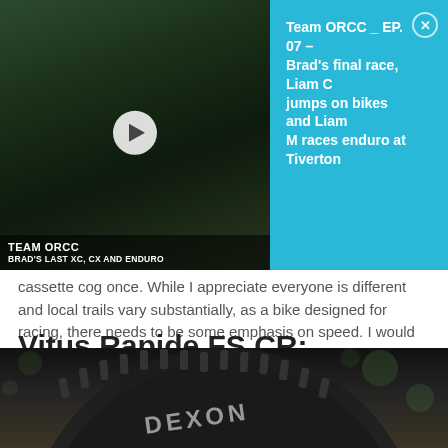[Figure (screenshot): Video thumbnail showing mountain biker in forest with TEAM ORCC / BRAD'S LAST XC, CX AND ENDURO overlay text and a play button]
Team ORCC _ EP. 07 – Brad's final race, Liam C jumps on bikes and Liam M races enduro at Tiverton
cassette cog once. While I appreciate everyone is different and local trails vary substantially, as a bike designed for racing, there needs to be some emphasis on speed. I would question the selection of such a small chainring. Vitus doesn't give a maximum chainring size, but there appears to be clearance for 36 teeth.
Vitus Rapide FS CR: Components & Wheels
[Figure (photo): Close-up photo of a black mountain bike tire (DEXON brand visible) against a blurred green/brown background]